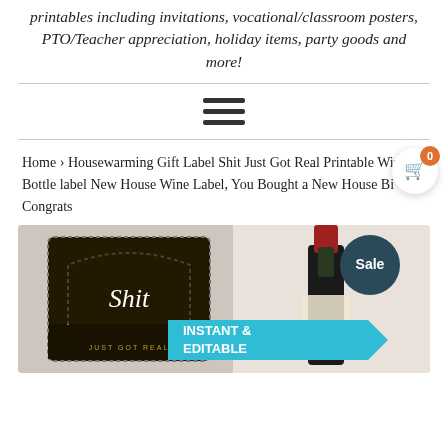printables including invitations, vocational/classroom posters, PTO/Teacher appreciation, holiday items, party goods and more!
[Figure (other): Hamburger/navigation menu icon with three horizontal bars]
Home › Housewarming Gift Label Shit Just Got Real Printable Wine Bottle label New House Wine Label, You Bought a New House Bi... Congrats
[Figure (photo): Product photo showing a wine bottle with a 'Shit Just Got Real' label, a teal arrow banner reading INSTANT & EDITABLE, and a Sale badge]